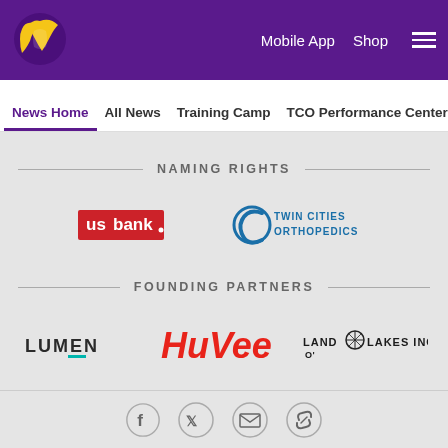[Figure (logo): Minnesota Vikings helmet logo in gold and purple]
Mobile App  Shop  ☰
News Home  All News  Training Camp  TCO Performance Center
NAMING RIGHTS
[Figure (logo): US Bank logo in red and white with shield shape]
[Figure (logo): Twin Cities Orthopedics logo with C icon in teal/blue]
FOUNDING PARTNERS
[Figure (logo): LUMEN logo in dark gray with teal accent]
[Figure (logo): HuVee logo in red italic font]
[Figure (logo): Land O Lakes Inc. logo in dark text with red diamond icon]
[Figure (infographic): Social share icons: Facebook, Twitter, Email, link]